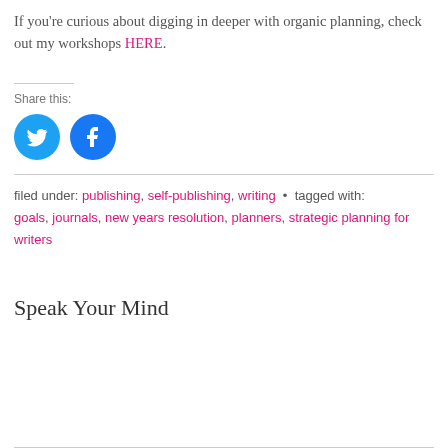If you're curious about digging in deeper with organic planning, check out my workshops HERE.
Share this:
[Figure (other): Twitter and Facebook share buttons (circular blue icons)]
filed under: publishing, self-publishing, writing · tagged with: goals, journals, new years resolution, planners, strategic planning for writers
Speak Your Mind